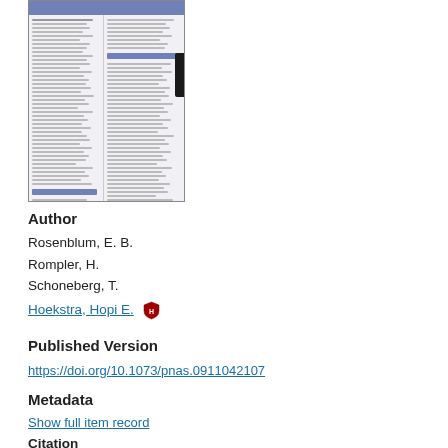[Figure (screenshot): Thumbnail preview of a multi-column academic paper page with blue header bars and dense text columns, including a dark sidebar element on the right side.]
(521.8Kb)
Author
Rosenblum, E. B.
Rompler, H.
Schoneberg, T.
Hoekstra, Hopi E. [shield icon]
Published Version
https://doi.org/10.1073/pnas.0911042107
Metadata
Show full item record
Citation
Rosenblum, E. B., H. Rompler, T. Schoneberg, and H. E. Hoekstra. 2010. "Molecular and Functional Basis of Phenotypic Convergence in White